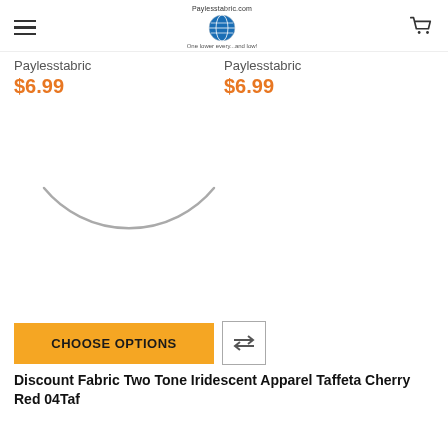Paylesstabric.com — One lower every...and low!
Paylesstabric
$6.99
Paylesstabric
$6.99
[Figure (illustration): Partial circular arc/smile shape in gray, lower half of a circle, loading spinner or fabric swatch circle]
CHOOSE OPTIONS
Discount Fabric Two Tone Iridescent Apparel Taffeta Cherry Red 04Taf